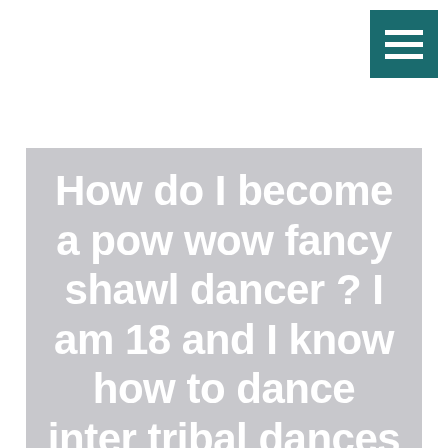[Figure (other): Hamburger menu icon button — teal/dark green square with three white horizontal bars]
How do I become a pow wow fancy shawl dancer ? I am 18 and I know how to dance inter tribal dances and my mom was a jingle dress dancer when she was younger and my grandmother was a